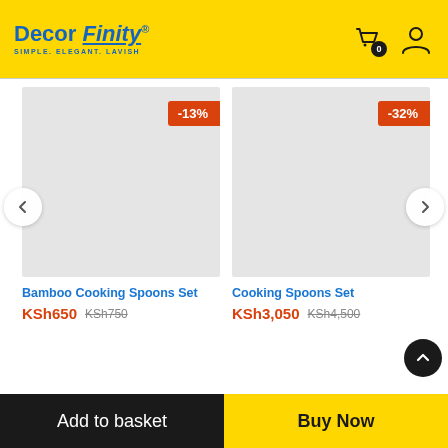Decor Finity® SIMPLE. ELEGANT. LAVISH
[Figure (screenshot): Product card for Bamboo Cooking Spoons Set with -13% discount badge, grey placeholder image]
Bamboo Cooking Spoons Set
KSh650 KSh750
[Figure (screenshot): Product card for Cooking Spoons Set with -32% discount badge, grey placeholder image]
Cooking Spoons Set
KSh3,050 KSh4,500
Add to basket | Buy Now